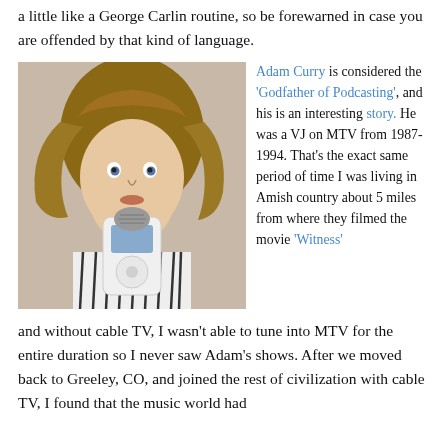a little like a George Carlin routine, so be forewarned in case you are offended by that kind of language.
[Figure (photo): Photo of Adam Curry, a man with long feathered hair, holding a microphone/iPod up to his mouth, wearing a striped shirt.]
Adam Curry is considered the 'Godfather of Podcasting', and his is an interesting story. He was a VJ on MTV from 1987-1994. That's the exact same period of time I was living in Amish country about 5 miles from where they filmed the movie 'Witness'
and without cable TV, I wasn't able to tune into MTV for the entire duration so I never saw Adam's shows. After we moved back to Greeley, CO, and joined the rest of civilization with cable TV, I found that the music world had